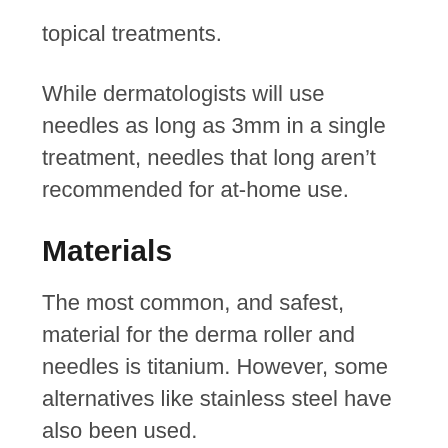topical treatments.
While dermatologists will use needles as long as 3mm in a single treatment, needles that long aren't recommended for at-home use.
Materials
The most common, and safest, material for the derma roller and needles is titanium. However, some alternatives like stainless steel have also been used.
Unfortunately, even stainless steel isn't as hypoallergenic or sanitary as titanium, so you